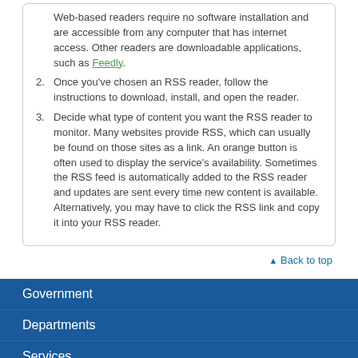Web-based readers require no software installation and are accessible from any computer that has internet access. Other readers are downloadable applications, such as Feedly.
Once you've chosen an RSS reader, follow the instructions to download, install, and open the reader.
Decide what type of content you want the RSS reader to monitor. Many websites provide RSS, which can usually be found on those sites as a link. An orange button is often used to display the service's availability. Sometimes the RSS feed is automatically added to the RSS reader and updates are sent every time new content is available. Alternatively, you may have to click the RSS link and copy it into your RSS reader.
▲ Back to top
Government
Departments
Services
[Figure (logo): Enable Google Translate button with Google G logo]